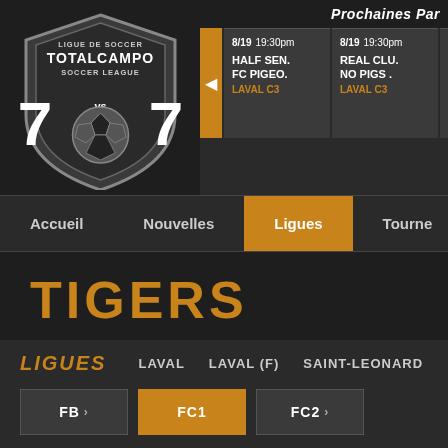[Figure (logo): TotalCampo Soccer League shield logo with '7 vs 7' text and soccer ball]
Prochaines Par
| Date | Time | Team 1 | Team 2 | League |
| --- | --- | --- | --- | --- |
| 8/19 | 19:30pm | HALF SEN. | FC PIGEO. | LAVAL C3 |
| 8/19 | 19:30pm | REAL CLU. | NO PIGS . | LAVAL C3 |
| 8/19 | 20:30pm | FC GOO. 3 | AVERAG. 0 | LAVAL C3 |
Accueil   Nouvelles   Ligues   Tourne
TIGERS
LIGUES   LAVAL   LAVAL (F)   SAINT-LEONARD
FB >
FC1
FC2 >